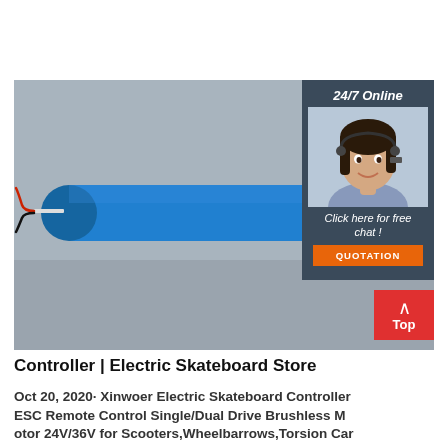[Figure (photo): Product photo of a cylindrical blue battery/controller with red and black wires on a gray background. Overlaid with a 24/7 Online chat widget showing a customer service representative with headset, a 'Click here for free chat!' label, and an orange 'QUOTATION' button.]
Controller | Electric Skateboard Store
Oct 20, 2020· Xinwoer Electric Skateboard Controller ESC Remote Control Single/Dual Drive Brushless Motor 24V/36V for Scooters,Wheelbarrows,Torsion Car Product Description & Features: Suitable for